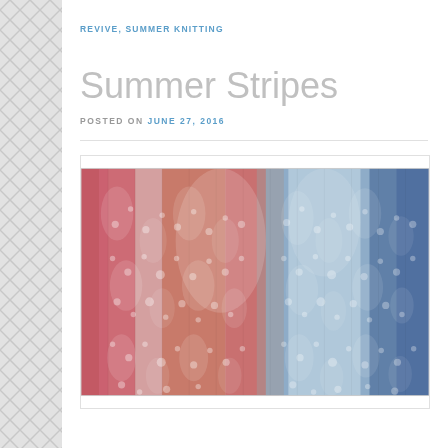REVIVE, SUMMER KNITTING
Summer Stripes
POSTED ON JUNE 27, 2016
[Figure (photo): Close-up photograph of a striped lace knitted shawl or scarf showing pink/red stripes on the left and blue/grey stripes on the right, with an intricate lace pattern throughout. The textile is photographed against a light background.]